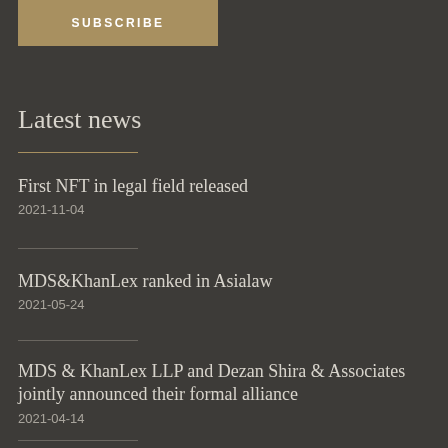SUBSCRIBE
Latest news
First NFT in legal field released
2021-11-04
MDS&KhanLex ranked in Asialaw
2021-05-24
MDS & KhanLex LLP and Dezan Shira & Associates jointly announced their formal alliance
2021-04-14